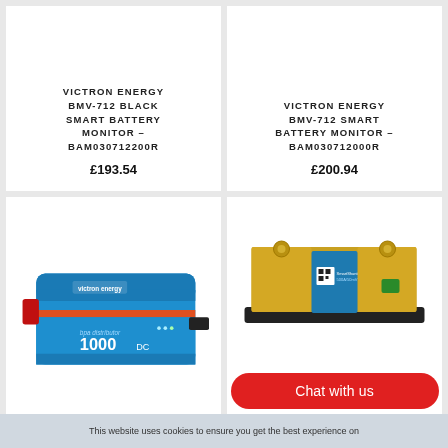VICTRON ENERGY BMV-712 BLACK SMART BATTERY MONITOR – BAM030712200R
£193.54
VICTRON ENERGY BMV-712 SMART BATTERY MONITOR – BAM030712000R
£200.94
[Figure (photo): Blue Victron Energy BPA Distributor 1000 DC device with red connector]
[Figure (photo): Victron Energy smart shunt/battery monitor mounted on black base with gold terminals]
Chat with us
This website uses cookies to ensure you get the best experience on